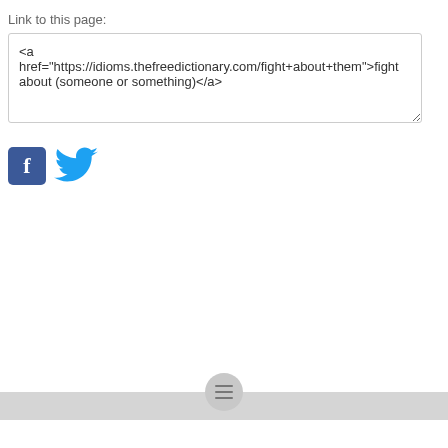Link to this page:
<a href="https://idioms.thefreedictionary.com/fight+about+them">fight about (someone or something)</a>
[Figure (logo): Facebook and Twitter social media share icons]